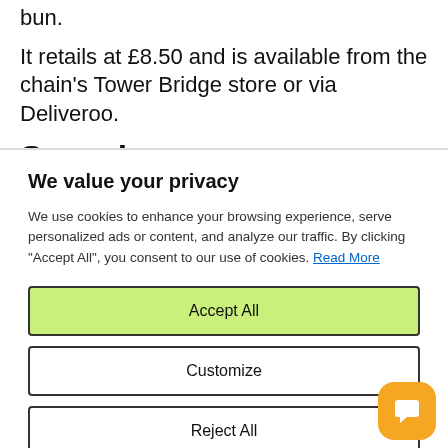bun.
It retails at £8.50 and is available from the chain's Tower Bridge store or via Deliveroo.
Seaspiracy
We value your privacy
We use cookies to enhance your browsing experience, serve personalized ads or content, and analyze our traffic. By clicking "Accept All", you consent to our use of cookies. Read More
Accept All
Customize
Reject All